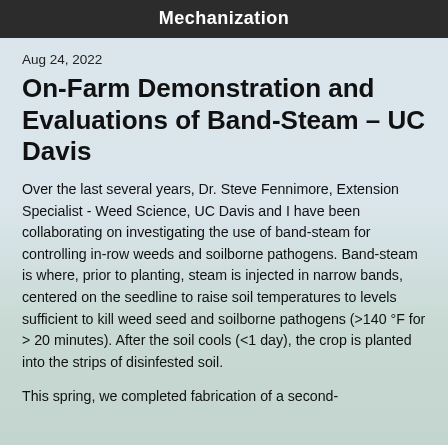Mechanization
Aug 24, 2022
On-Farm Demonstration and Evaluations of Band-Steam – UC Davis
Over the last several years, Dr. Steve Fennimore, Extension Specialist - Weed Science, UC Davis and I have been collaborating on investigating the use of band-steam for controlling in-row weeds and soilborne pathogens. Band-steam is where, prior to planting, steam is injected in narrow bands, centered on the seedline to raise soil temperatures to levels sufficient to kill weed seed and soilborne pathogens (>140 °F for > 20 minutes). After the soil cools (<1 day), the crop is planted into the strips of disinfested soil.
This spring, we completed fabrication of a second-